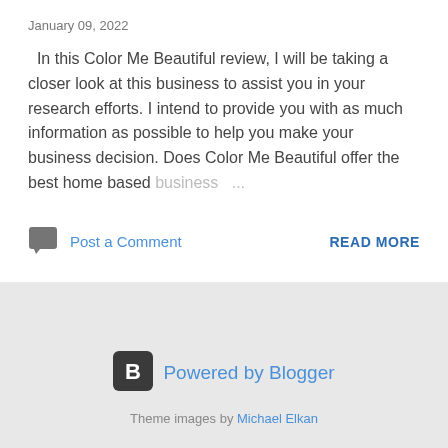January 09, 2022
In this Color Me Beautiful review, I will be taking a closer look at this business to assist you in your research efforts. I intend to provide you with as much information as possible to help you make your business decision. Does Color Me Beautiful offer the best home based business …
Post a Comment
READ MORE
[Figure (logo): Blogger logo icon — white letter B on dark rounded-square background]
Powered by Blogger
Theme images by Michael Elkan